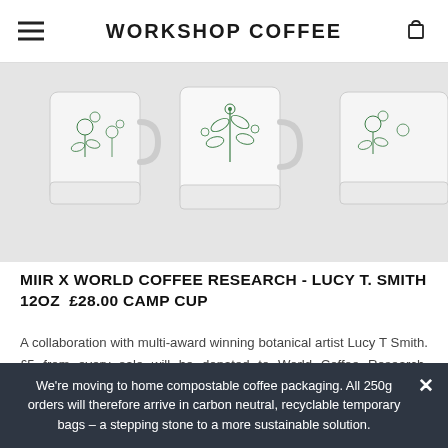WORKSHOP COFFEE
[Figure (photo): Three white enamel camp cups with green botanical line art illustrations, shown side by side against a light grey background.]
MIIR X WORLD COFFEE RESEARCH - LUCY T. SMITH 12OZ  £28.00 CAMP CUP
A collaboration with multi-award winning botanical artist Lucy T Smith. £5 from every sale will be donated to World Coffee Research, supporting their vital work in protecting & enhancing the long-term availability of quality coffee.
We're moving to home compostable coffee packaging. All 250g orders will therefore arrive in carbon neutral, recyclable temporary bags – a stepping stone to a more sustainable solution.